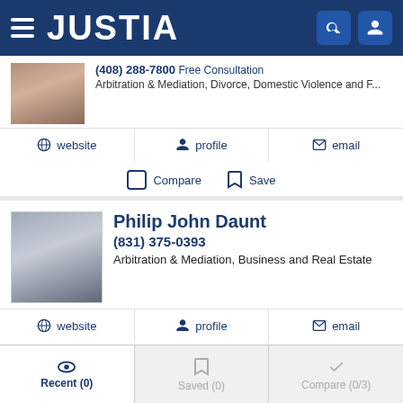JUSTIA
(408) 288-7800 Free Consultation
Arbitration & Mediation, Divorce, Domestic Violence and F...
website | profile | email
Compare | Save
Philip John Daunt
(831) 375-0393
Arbitration & Mediation, Business and Real Estate
website | profile | email
Compare | Save
Recent (0) | Saved (0) | Compare (0/3)